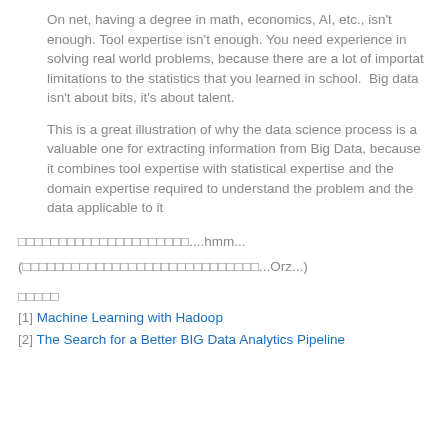On net, having a degree in math, economics, AI, etc., isn't enough. Tool expertise isn't enough. You need experience in solving real world problems, because there are a lot of importat limitations to the statistics that you learned in school.  Big data isn't about bits, it's about talent.
This is a great illustration of why the data science process is a valuable one for extracting information from Big Data, because it combines tool expertise with statistical expertise and the domain expertise required to understand the problem and the data applicable to it
□□□□□□□□□□□□□□□□□□□□□....hmm...
(□□□□□□□□□□□□□□□□□□□□□□□□□□□□□...Orz...)
□□□□□
[1] Machine Learning with Hadoop
[2] The Search for a Better BIG Data Analytics Pipeline